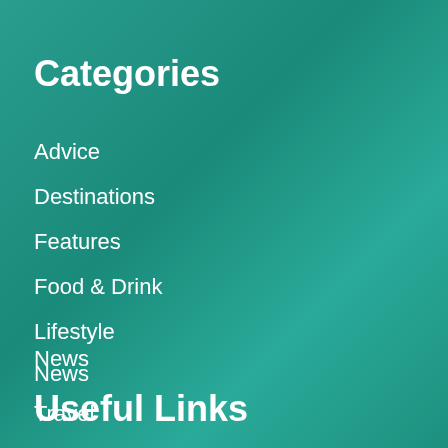Categories
Advice
Destinations
Features
Food & Drink
Lifestyle
News
Travel
Videos
Useful Links